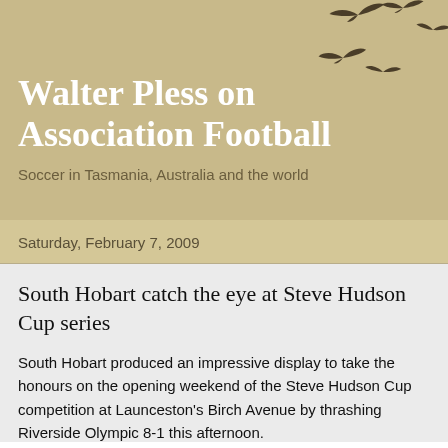Walter Pless on Association Football
Soccer in Tasmania, Australia and the world
Saturday, February 7, 2009
South Hobart catch the eye at Steve Hudson Cup series
South Hobart produced an impressive display to take the honours on the opening weekend of the Steve Hudson Cup competition at Launceston's Birch Avenue by thrashing Riverside Olympic 8-1 this afternoon.
South Hobart, missing striker Billy Gasparinatos and midfielder Igor, led 5-0 at the break.